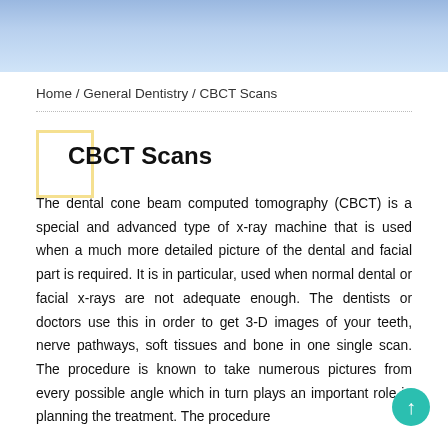[Figure (photo): Dental office header image with blue tones, showing dental equipment and office supplies]
Home / General Dentistry / CBCT Scans
CBCT Scans
The dental cone beam computed tomography (CBCT) is a special and advanced type of x-ray machine that is used when a much more detailed picture of the dental and facial part is required. It is in particular, used when normal dental or facial x-rays are not adequate enough. The dentists or doctors use this in order to get 3-D images of your teeth, nerve pathways, soft tissues and bone in one single scan. The procedure is known to take numerous pictures from every possible angle which in turn plays an important role in planning the treatment. The procedure